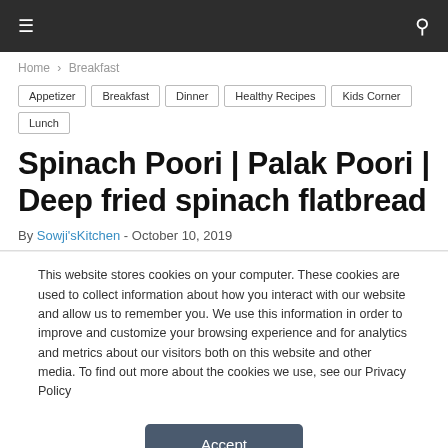≡  🔍
Home › Breakfast
Appetizer
Breakfast
Dinner
Healthy Recipes
Kids Corner
Lunch
Spinach Poori | Palak Poori | Deep fried spinach flatbread
By Sowji'sKitchen - October 10, 2019
This website stores cookies on your computer. These cookies are used to collect information about how you interact with our website and allow us to remember you. We use this information in order to improve and customize your browsing experience and for analytics and metrics about our visitors both on this website and other media. To find out more about the cookies we use, see our Privacy Policy
Accept